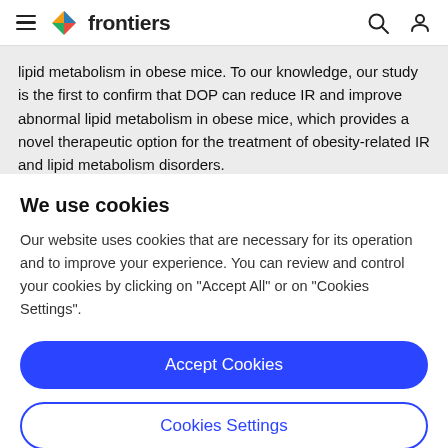frontiers
lipid metabolism in obese mice. To our knowledge, our study is the first to confirm that DOP can reduce IR and improve abnormal lipid metabolism in obese mice, which provides a novel therapeutic option for the treatment of obesity-related IR and lipid metabolism disorders.
We use cookies
Our website uses cookies that are necessary for its operation and to improve your experience. You can review and control your cookies by clicking on "Accept All" or on "Cookies Settings".
Accept Cookies
Cookies Settings